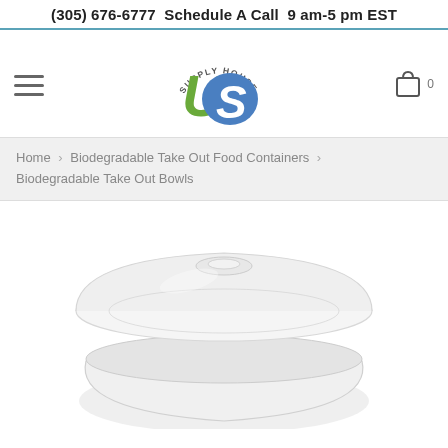(305) 676-6777  Schedule A Call  9 am-5 pm EST
[Figure (logo): US Supply House logo with green U and blue S letters, 'SUPPLY HOUSE' text arc above]
Home > Biodegradable Take Out Food Containers > Biodegradable Take Out Bowls
[Figure (photo): Clear plastic/biodegradable take-out bowl with a transparent lid, viewed from slightly above at an angle, showing the round container with a snap-on flat lid]